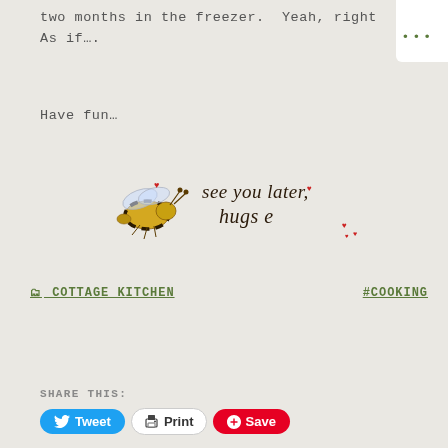two months in the freezer.  Yeah, right As if….
Have fun…
[Figure (illustration): A decorative bee illustration with cursive handwritten text reading 'see you later, hugs e' with small red hearts]
🗂 COTTAGE KITCHEN   #COOKING
SHARE THIS:
Tweet  Print  Save